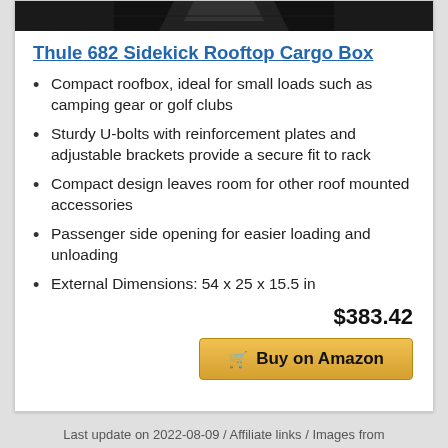[Figure (photo): Partial view of a rooftop cargo box mounted on a vehicle roof rack, dark colored image strip]
Thule 682 Sidekick Rooftop Cargo Box
Compact roofbox, ideal for small loads such as camping gear or golf clubs
Sturdy U-bolts with reinforcement plates and adjustable brackets provide a secure fit to rack
Compact design leaves room for other roof mounted accessories
Passenger side opening for easier loading and unloading
External Dimensions: 54 x 25 x 15.5 in
$383.42
Buy on Amazon
Last update on 2022-08-09 / Affiliate links / Images from